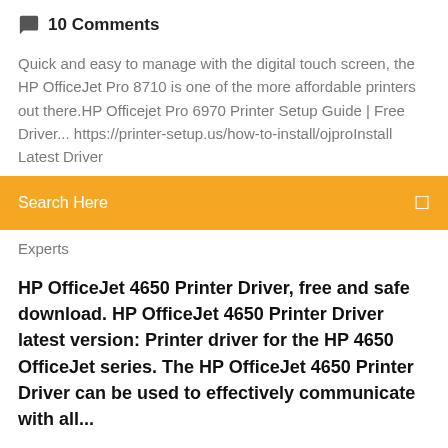10 Comments
Quick and easy to manage with the digital touch screen, the HP OfficeJet Pro 8710 is one of the more affordable printers out there.HP Officejet Pro 6970 Printer Setup Guide | Free Driver... https://printer-setup.us/how-to-install/ojproInstall Latest Driver
Search Here
Experts
HP OfficeJet 4650 Printer Driver, free and safe download. HP OfficeJet 4650 Printer Driver latest version: Printer driver for the HP 4650 OfficeJet series. The HP OfficeJet 4650 Printer Driver can be used to effectively communicate with all...
HP LaserJet Pro M15w Printer Driver Free Download| driverprinter Printer Driver HP OfficeJet Pro 8710 All-in-One Wireless Printer with Mobile Printing, Instant  3 Aug 2019 Download HP Officejet Pro 8710 Driver for Windows Download